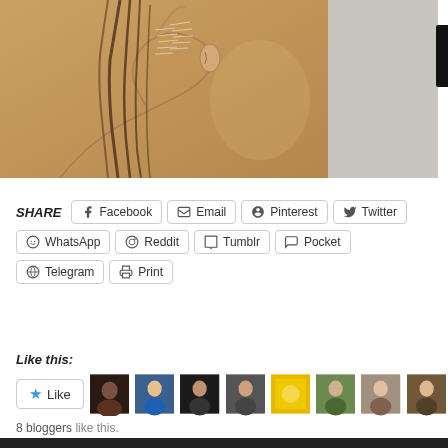[Figure (illustration): A pencil/pastel drawing of a person shown in profile from behind, with braided hair and visible ear, on a tan/ochre background. Right side shows a gray sidebar area with a black bar on far right edge.]
SHARE  Facebook  Email  Pinterest  Twitter  WhatsApp  Reddit  Tumblr  Pocket  Telegram  Print
Like this:
8 bloggers like this.